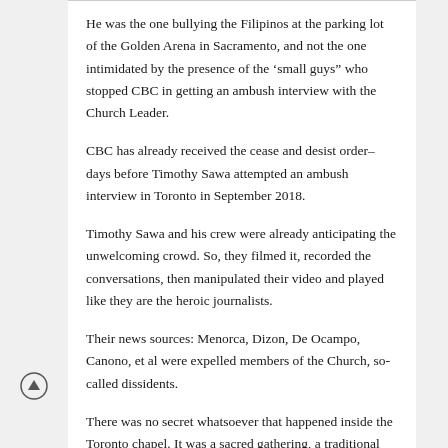He was the one bullying the Filipinos at the parking lot of the Golden Arena in Sacramento, and not the one intimidated by the presence of the ‘small guys” who stopped CBC in getting an ambush interview with the Church Leader.
CBC has already received the cease and desist order– days before Timothy Sawa attempted an ambush interview in Toronto in September 2018.
Timothy Sawa and his crew were already anticipating the unwelcoming crowd. So, they filmed it, recorded the conversations, then manipulated their video and played like they are the heroic journalists.
Their news sources: Menorca, Dizon, De Ocampo, Canono, et al were expelled members of the Church, so-called dissidents.
There was no secret whatsoever that happened inside the Toronto chapel. It was a sacred gathering, a traditional worship service with the choir singing, homily, and prayers.